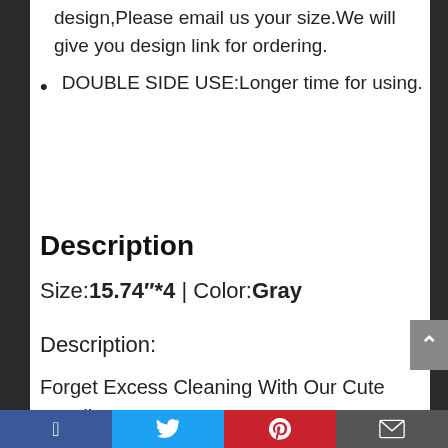design,Please email us your size.We will give you design link for ordering.
DOUBLE SIDE USE:Longer time for using.
Description
Size:15.74″*4 | Color:Gray
Description:
Forget Excess Cleaning With Our Cute Handle Covers!
Facebook | Twitter | Pinterest | Email